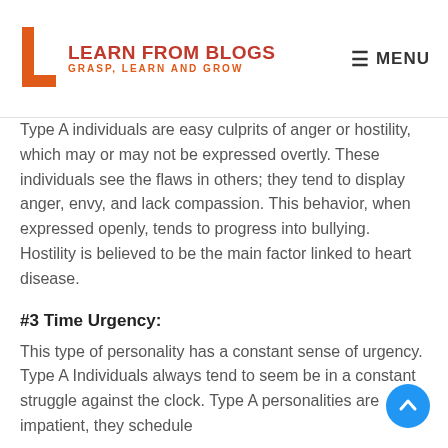LEARN FROM BLOGS — GRASP, LEARN AND GROW | MENU
Type A individuals are easy culprits of anger or hostility, which may or may not be expressed overtly. These individuals see the flaws in others; they tend to display anger, envy, and lack compassion. This behavior, when expressed openly, tends to progress into bullying. Hostility is believed to be the main factor linked to heart disease.
#3 Time Urgency:
This type of personality has a constant sense of urgency. Type A Individuals always tend to seem be in a constant struggle against the clock. Type A personalities are impatient, they schedule